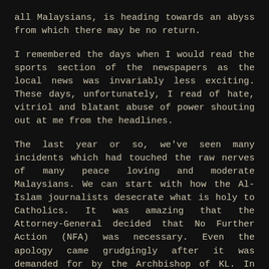all Malaysians, is heading towards an abyss from which there may be no return.
I remembered the days when I would read the sports section of the newspapers as the local news was invariably less exciting. These days, unfortunately, I read of hate, vitriol and blatant abuse of power shouting out at me from the headlines.
The last year or so, we've seen many incidents which had touched the raw nerves of many peace loving and moderate Malaysians. We can start with how the Al-Islam journalists desecrate what is holy to Catholics. It was amazing that the Attorney-General decided that No Further Action (NFA) was necessary. Even the apology came grudgingly after it was demanded for by the Archbishop of KL. In fact, there were some quarters who felt that the apology was not necessary.
Let's compare that with the recent incident involving an elected representative from the opposition, Datuk Seri. She was present at the surau to disburse of aid for the rakyat. And she gave short speech. I'm certain that she wasn't trying to convert the Muslims who were there then. But consider the uproar that happened in the aftermath of the i...